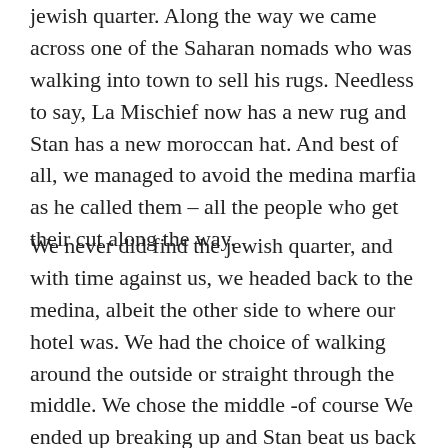jewish quarter. Along the way we came across one of the Saharan nomads who was walking into town to sell his rugs. Needless to say, La Mischief now has a new rug and Stan has a new moroccan hat. And best of all, we managed to avoid the medina marfia as he called them – all the people who get their cut along the way.
We never did find the jewish quarter, and with time against us, we headed back to the medina, albeit the other side to where our hotel was. We had the choice of walking around the outside or straight through the middle. We chose the middle -of course We ended up breaking up and Stan beat us back to hotel by quite a mile. I worked out my mistake was to take directions from the locals and these directions ineveratibly